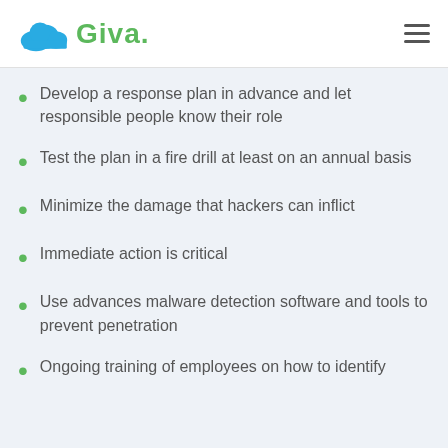Giva
Develop a response plan in advance and let responsible people know their role
Test the plan in a fire drill at least on an annual basis
Minimize the damage that hackers can inflict
Immediate action is critical
Use advances malware detection software and tools to prevent penetration
Ongoing training of employees on how to identify